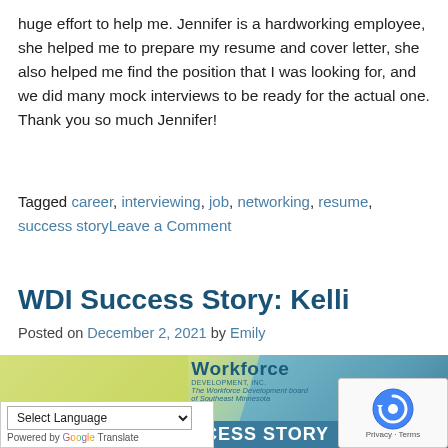huge effort to help me. Jennifer is a hardworking employee, she helped me to prepare my resume and cover letter, she also helped me find the position that I was looking for, and we did many mock interviews to be ready for the actual one. Thank you so much Jennifer!
Tagged career, interviewing, job, networking, resume, success storyLeave a Comment
WDI Success Story: Kelli
Posted on December 2, 2021 by Emily
[Figure (logo): Workforce Development Inc. logo with 'The Workforce Development board of Southeast Minnesota' tagline, with a WDI SUCCESS STORY banner at the bottom, on a yellow-green and teal background]
Select Language / Powered by Google Translate
Privacy · Terms (reCAPTCHA)